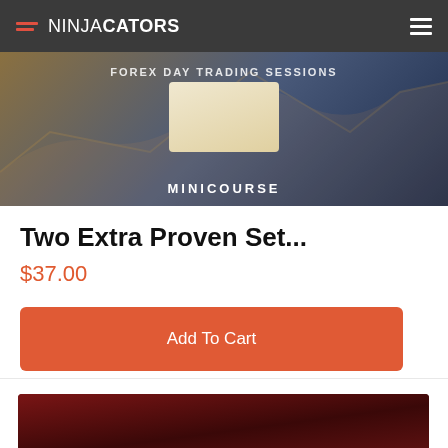NINJACATORS
[Figure (screenshot): Product thumbnail image showing a trading mini-course with chart overlay and card shape, labeled MINICOURSE at bottom]
Two Extra Proven Set...
$37.00
Add To Cart
[Figure (screenshot): Dark red/maroon product thumbnail image, partially visible at bottom of page]